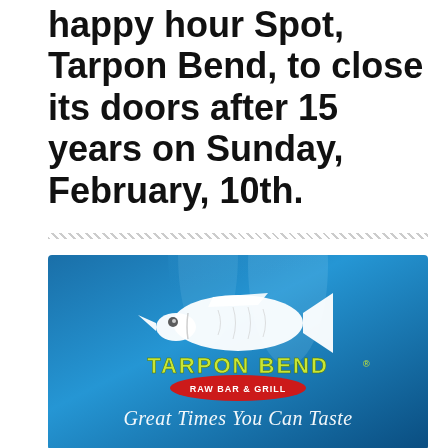happy hour Spot, Tarpon Bend, to close its doors after 15 years on Sunday, February, 10th.
[Figure (logo): Tarpon Bend Raw Bar & Grill logo on a blue underwater background. Features a white illustrated tarpon fish above yellow text reading 'TARPON BEND' with a red oval badge below reading 'RAW BAR & GRILL'. Below the logo is italic white cursive text reading 'Great Times You Can Taste'.]
With a heartfelt post, Wayne Cameron Eldred, shared some unexpected and unwanted news.  Tarpon Bend in Coral Gables will close its doors after 15 years. Tarpon Bend helped build Coral Gables into a happy hour mecca where thirsty folks flocked to Tarpon Bend for their famous happy hour which gave away drink chips you used